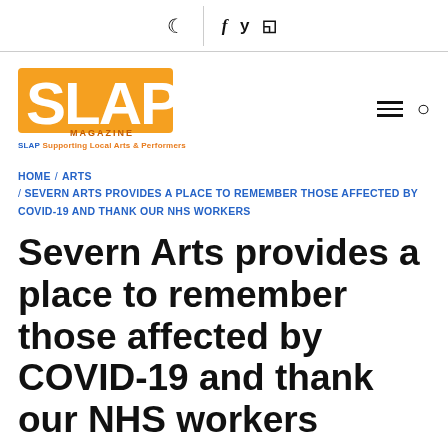🌙  f y ⊡
[Figure (logo): SLAP Magazine logo - orange block letters with MAGAZINE text below, tagline: SLAP Supporting Local Arts & Performers]
HOME / ARTS / SEVERN ARTS PROVIDES A PLACE TO REMEMBER THOSE AFFECTED BY COVID-19 AND THANK OUR NHS WORKERS
Severn Arts provides a place to remember those affected by COVID-19 and thank our NHS workers